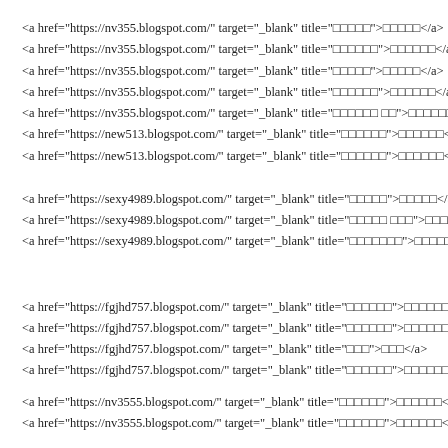<a href="https://nv355.blogspot.com/" target="_blank" title="&#9633;&#9633;&#9633;&#9633;&#9633;">&#9633;&#9633;&#9633;&#9633;&#9633;</a>
<a href="https://nv355.blogspot.com/" target="_blank" title="&#9633;&#9633;&#9633;&#9633;&#9633;&#9633;">&#9633;&#9633;&#9633;&#9633;&#9633;&#9633;</a>
<a href="https://nv355.blogspot.com/" target="_blank" title="&#9633;&#9633;&#9633;&#9633;&#9633;">&#9633;&#9633;&#9633;&#9633;&#9633;</a>
<a href="https://nv355.blogspot.com/" target="_blank" title="&#9633;&#9633;&#9633;&#9633;&#9633;&#9633;">&#9633;&#9633;&#9633;&#9633;&#9633;&#9633;</a>
<a href="https://nv355.blogspot.com/" target="_blank" title="&#9633;&#9633;&#9633;&#9633;&#9633;&#9633; &#9633;&#9633;">&#9633;&#9633;&#9633;&#9633;&#9633;&#9633; &#9633;&#9633;</a>
<a href="https://new513.blogspot.com/" target="_blank" title="&#9633;&#9633;&#9633;&#9633;&#9633;&#9633;">&#9633;&#9633;&#9633;&#9633;&#9633;&#9633;</a>
<a href="https://new513.blogspot.com/" target="_blank" title="&#9633;&#9633;&#9633;&#9633;&#9633;&#9633;">&#9633;&#9633;&#9633;&#9633;&#9633;&#9633;</a>
<a href="https://sexy4989.blogspot.com/" target="_blank" title="&#9633;&#9633;&#9633;&#9633;&#9633;">&#9633;&#9633;&#9633;&#9633;&#9633;</a>
<a href="https://sexy4989.blogspot.com/" target="_blank" title="&#9633;&#9633;&#9633;&#9633;&#9633; &#9633;&#9633;&#9633;">&#9633;&#9633;&#9633;&#9633;&#9633; &#9633;&#9633;&#9633;</a>
<a href="https://sexy4989.blogspot.com/" target="_blank" title="&#9633;&#9633;&#9633;&#9633;&#9633;&#9633;&#9633;">&#9633;&#9633;&#9633;&#9633;&#9633;&#9633;&#9633;</a>
<a href="https://fgjhd757.blogspot.com/" target="_blank" title="&#9633;&#9633;&#9633;&#9633;&#9633;&#9633;">&#9633;&#9633;&#9633;&#9633;&#9633;&#9633;</a>
<a href="https://fgjhd757.blogspot.com/" target="_blank" title="&#9633;&#9633;&#9633;&#9633;&#9633;&#9633;">&#9633;&#9633;&#9633;&#9633;&#9633;&#9633;</a>
<a href="https://fgjhd757.blogspot.com/" target="_blank" title="&#9633;&#9633;&#9633;">&#9633;&#9633;&#9633;</a>
<a href="https://fgjhd757.blogspot.com/" target="_blank" title="&#9633;&#9633;&#9633;&#9633;&#9633;&#9633;">&#9633;&#9633;&#9633;&#9633;&#9633;&#9633;</a>
<a href="https://nv3555.blogspot.com/" target="_blank" title="&#9633;&#9633;&#9633;&#9633;&#9633;&#9633;">&#9633;&#9633;&#9633;&#9633;&#9633;&#9633;</a>
<a href="https://nv3555.blogspot.com/" target="_blank" title="&#9633;&#9633;&#9633;&#9633;&#9633;&#9633;">&#9633;&#9633;&#9633;&#9633;&#9633;&#9633;</a>